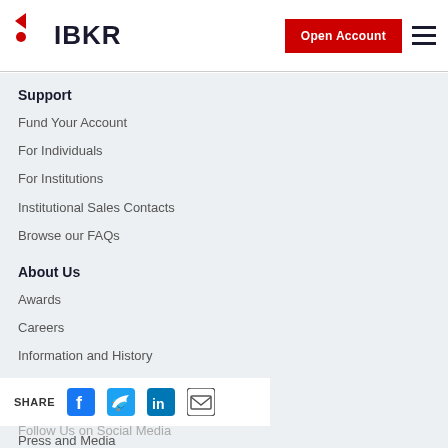IBKR — Open Account
Support
Fund Your Account
For Individuals
For Institutions
Institutional Sales Contacts
Browse our FAQs
About Us
Awards
Careers
Information and History
Investor Relations
News @ IBKR
Press and Media
Regulatory Reports
Follow Us on Social Media
SHARE